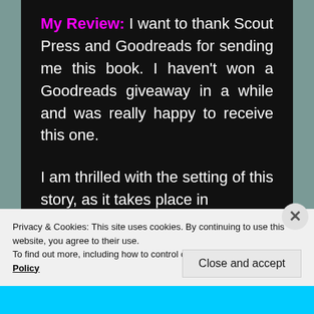My Review: I want to thank Scout Press and Goodreads for sending me this book. I haven't won a Goodreads giveaway in a while and was really happy to receive this one.
I am thrilled with the setting of this story, as it takes place in [Scotland/somewhere, text cut off]
Privacy & Cookies: This site uses cookies. By continuing to use this website, you agree to their use.
To find out more, including how to control cookies, see here: Cookie Policy
Close and accept